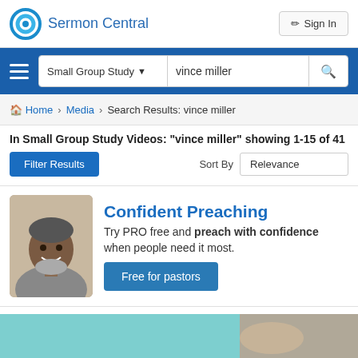Sermon Central  Sign In
Small Group Study  vince miller  [search]
Home > Media > Search Results: vince miller
In Small Group Study Videos: "vince miller" showing 1-15 of 41
Filter Results   Sort By  Relevance
[Figure (photo): Advertisement banner for Confident Preaching: photo of smiling African-American man with grey beard, text reads 'Confident Preaching – Try PRO free and preach with confidence when people need it most. Free for pastors']
[Figure (photo): Partial bottom image strip showing a teal/grey background photograph]